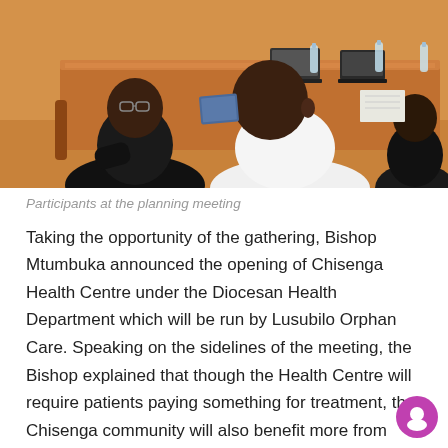[Figure (photo): Participants seated around an orange conference table at a planning meeting, viewed from behind, with laptops and water bottles on the table.]
Participants at the planning meeting
Taking the opportunity of the gathering, Bishop Mtumbuka announced the opening of Chisenga Health Centre under the Diocesan Health Department which will be run by Lusubilo Orphan Care. Speaking on the sidelines of the meeting, the Bishop explained that though the Health Centre will require patients paying something for treatment, the Chisenga community will also benefit more from Lusubilo Orphan Care services.